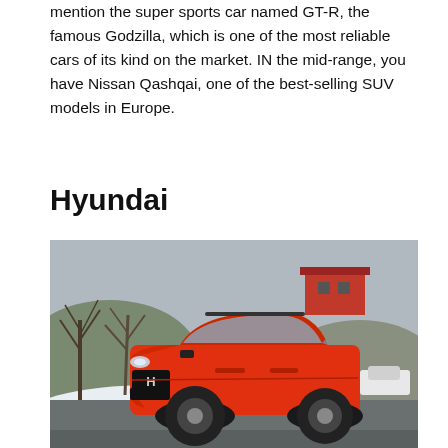mention the super sports car named GT-R, the famous Godzilla, which is one of the most reliable cars of its kind on the market. IN the mid-range, you have Nissan Qashqai, one of the best-selling SUV models in Europe.
Hyundai
[Figure (photo): A red Hyundai SUV (Hyundai Kona) parked on a road in a snowy winter setting, with bare trees, a red building, and hills in the background.]